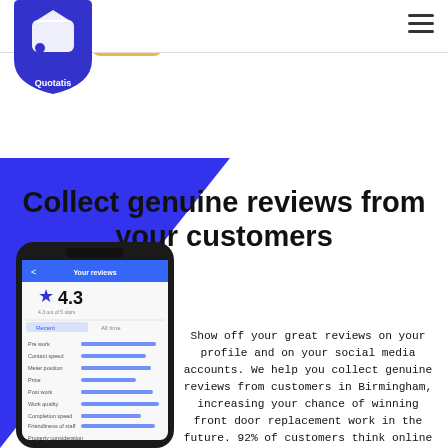[Figure (logo): Quotatis logo — blue shield with white house/speech-bubble icon and 'Quotatis' text below on white background]
[Figure (screenshot): Partial smartphone screenshot visible at top, showing yellow/gold edge of phone frame]
[Figure (illustration): Blue triangle geometric background shape in lower-left area of page]
Collect genuine reviews from your customers
[Figure (screenshot): Smartphone mockup showing 'Your reviews' screen with a 4.3 star rating and review breakdown bars]
Show off your great reviews on your profile and on your social media accounts. We help you collect genuine reviews from customers in Birmingham, increasing your chance of winning front door replacement work in the future. 92% of customers think online reviews are helpful when they're deciding on a